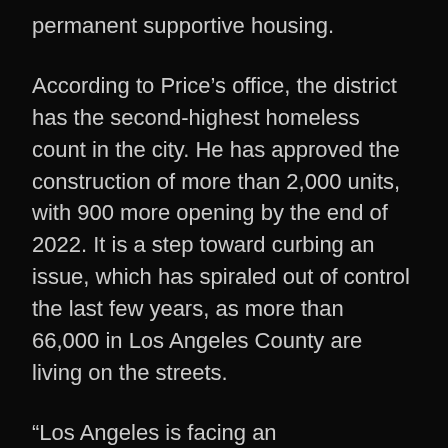permanent supportive housing.
According to Price's office, the district has the second-highest homeless count in the city. He has approved the construction of more than 2,000 units, with 900 more opening by the end of 2022. It is a step toward curbing an issue, which has spiraled out of control the last few years, as more than 66,000 in Los Angeles County are living on the streets.
“Los Angeles is facing an unprecedented housing crisis unlike anything we have ever seen,” Price said. “Rising rents and the high cost of living … has created unimaginable hardships for our neighbors, not to mention the devastation the (COVID-19) pandemic has caused.”
Price said it was fitting that the new Bridge Home facility is named after Mobley, who he called “a legendary pillar” of the city.